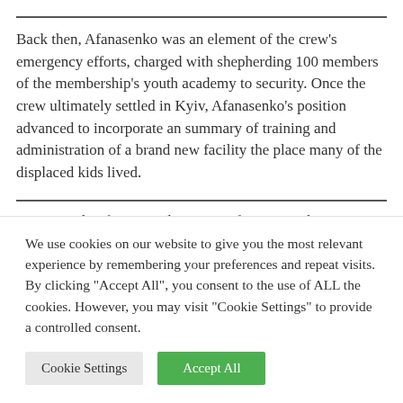Back then, Afanasenko was an element of the crew's emergency efforts, charged with shepherding 100 members of the membership's youth academy to security. Once the crew ultimately settled in Kyiv, Afanasenko's position advanced to incorporate an summary of training and administration of a brand new facility the place many of the displaced kids lived.
Now in Split after one other escape from one other Russian assault, the tasks for each Afanasenko and Cardoso have
We use cookies on our website to give you the most relevant experience by remembering your preferences and repeat visits. By clicking "Accept All", you consent to the use of ALL the cookies. However, you may visit "Cookie Settings" to provide a controlled consent.